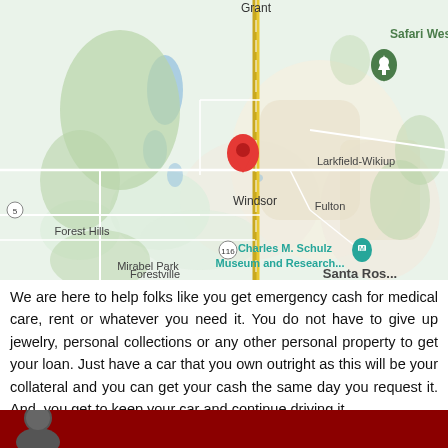[Figure (map): Google Maps screenshot showing Windsor, CA area with red location pin on Windsor. Surrounding areas include Grant (north), Safari West (upper right with green pin), Forest Hills, Mirabel Park, Forestville, Ross (left side), Larkfield-Wikiup, Fulton (right side), Charles M. Schulz Museum and Research... (center with blue pin), and partial Santa Rosa text (bottom right). Road 116 visible near bottom center. Yellow highway runs north-south through center.]
We are here to help folks like you get emergency cash for medical care, rent or whatever you need it. You do not have to give up jewelry, personal collections or any other personal property to get your loan. Just have a car that you own outright as this will be your collateral and you can get your cash the same day you request it. And, you get to keep your car and continue driving it.
[Figure (photo): Red banner at bottom of page with partial view of a person's head/silhouette on the left side.]